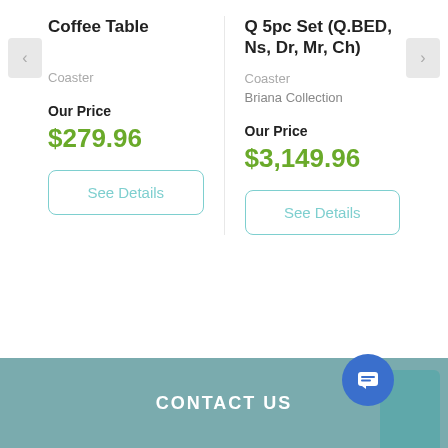Coffee Table
Coaster
Our Price
$279.96
See Details
Q 5pc Set (Q.BED, Ns, Dr, Mr, Ch)
Coaster
Briana Collection
Our Price
$3,149.96
See Details
CONTACT US